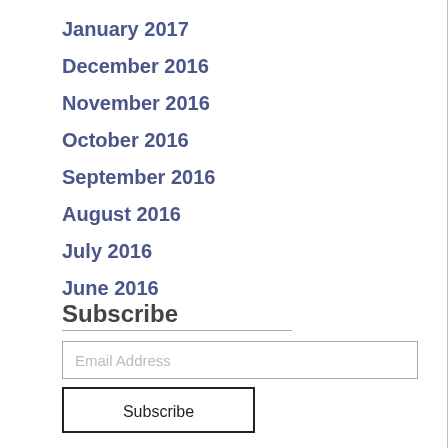January 2017
December 2016
November 2016
October 2016
September 2016
August 2016
July 2016
June 2016
Subscribe
Email Address
Subscribe